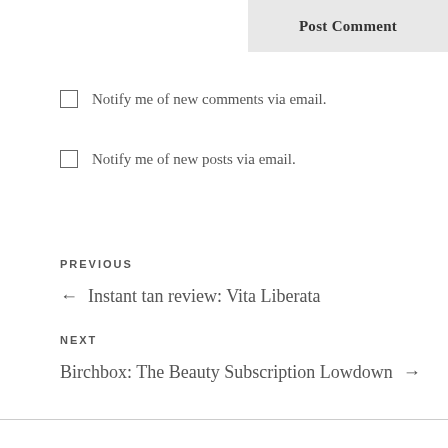Post Comment
Notify me of new comments via email.
Notify me of new posts via email.
PREVIOUS
← Instant tan review: Vita Liberata
NEXT
Birchbox: The Beauty Subscription Lowdown →